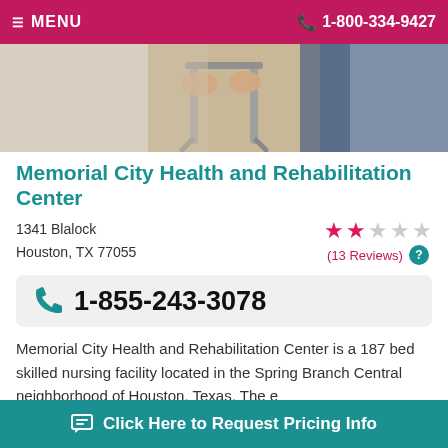MENU   1-800-334-9427
[Figure (photo): Close-up photo of a person's hands gripping a walker/mobility aid, with another person nearby. Suggests elderly care or rehabilitation context.]
Memorial City Health and Rehabilitation Center
1341 Blalock
Houston, TX 77055
(13 Reviews)
1-855-243-3078
Memorial City Health and Rehabilitation Center is a 187 bed skilled nursing facility located in the Spring Branch Central neighborhood of Houston, Texas. The e... 4...
Click Here to Request Pricing Info